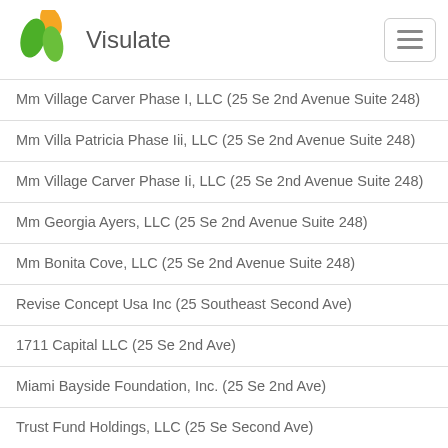Visulate
Mm Village Carver Phase I, LLC (25 Se 2nd Avenue Suite 248)
Mm Villa Patricia Phase Iii, LLC (25 Se 2nd Avenue Suite 248)
Mm Village Carver Phase Ii, LLC (25 Se 2nd Avenue Suite 248)
Mm Georgia Ayers, LLC (25 Se 2nd Avenue Suite 248)
Mm Bonita Cove, LLC (25 Se 2nd Avenue Suite 248)
Revise Concept Usa Inc (25 Southeast Second Ave)
1711 Capital LLC (25 Se 2nd Ave)
Miami Bayside Foundation, Inc. (25 Se 2nd Ave)
Trust Fund Holdings, LLC (25 Se Second Ave)
Northgate Properties, LLC (25 Se Second Ave)